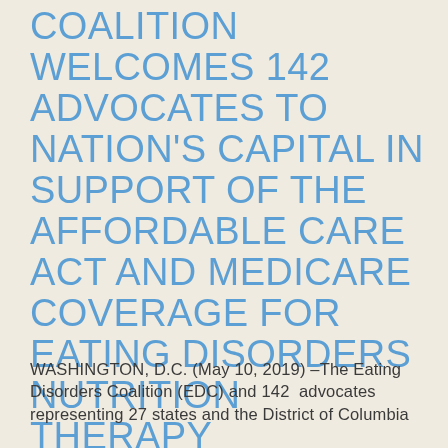COALITION WELCOMES 142 ADVOCATES TO NATION'S CAPITAL IN SUPPORT OF THE AFFORDABLE CARE ACT AND MEDICARE COVERAGE FOR EATING DISORDERS NUTRITION THERAPY
WASHINGTON, D.C. (May 10, 2019) –The Eating Disorders Coalition (EDC) and 142  advocates representing 27 states and the District of Columbia